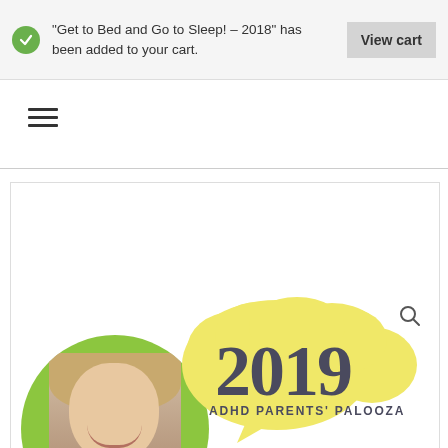“Get to Bed and Go to Sleep! – 2018” has been added to your cart.
View cart
[Figure (illustration): Hamburger menu icon with three horizontal lines]
[Figure (illustration): Screenshot of a website showing a green circle with a woman's photo and a yellow speech bubble with '2019 ADHD PARENTS' PALOOZA' text. A search icon is visible in the upper right of the content area.]